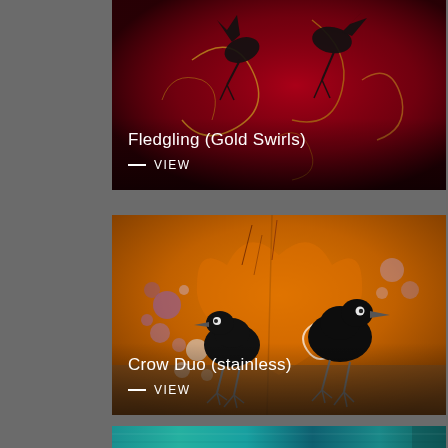[Figure (photo): Painting of bird(s) titled 'Fledgling (Gold Swirls)' on a dark crimson/red background with gold swirl decorations and black bird silhouettes]
Fledgling (Gold Swirls)
— VIEW
[Figure (photo): Painting of two black crows titled 'Crow Duo (stainless)' on a vivid orange background with purple/blue bubble patterns and white swirl motifs]
Crow Duo (stainless)
— VIEW
[Figure (photo): Partial view of a third painting with teal/blue-green coloring at the bottom of the page]